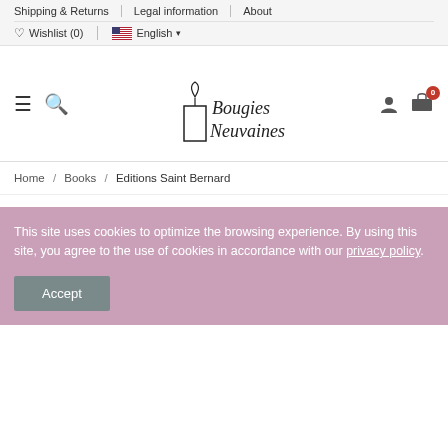Shipping & Returns | Legal information | About
Wishlist (0) | English
[Figure (logo): Bougies Neuvaines logo with candle illustration and cursive text]
Home / Books / Editions Saint Bernard
This site uses cookies to optimize the browsing experience. By using this site, you agree to the use of cookies in accordance with our privacy policy.
Accept